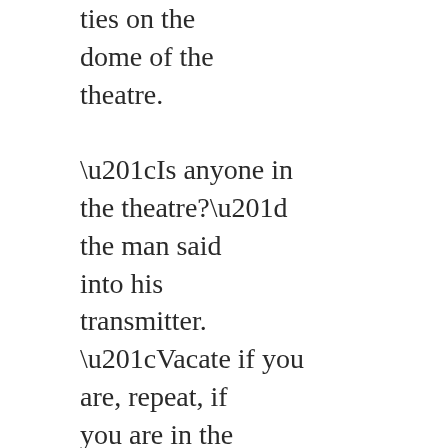ties on the dome of the theatre. “Is anyone in the theatre?” the man said into his transmitter. “Vacate if you are, repeat, if you are in the theatre, get the fuck out now!”